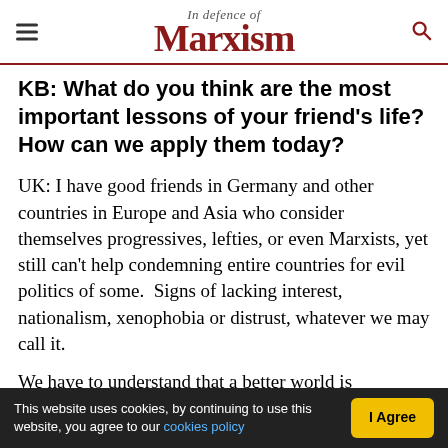In Defence of Marxism
KB: What do you think are the most important lessons of your friend's life? How can we apply them today?
UK: I have good friends in Germany and other countries in Europe and Asia who consider themselves progressives, lefties, or even Marxists, yet still can't help condemning entire countries for evil politics of some.  Signs of lacking interest, nationalism, xenophobia or distrust, whatever we may call it.
We have to understand that a better world is
This website uses cookies, by continuing to use this website, you agree to our cookies policy  I Agree